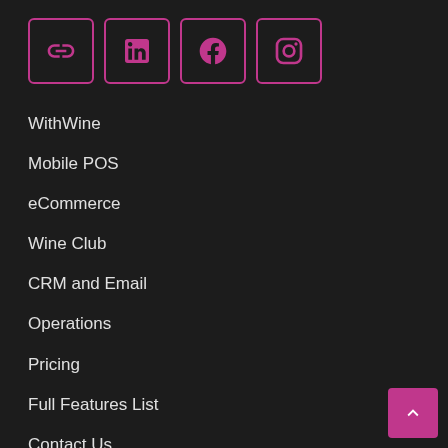[Figure (other): Row of four social media icon buttons with pink/magenta borders: link/chain icon, LinkedIn icon, Facebook icon, Instagram icon]
WithWine
Mobile POS
eCommerce
Wine Club
CRM and Email
Operations
Pricing
Full Features List
Contact Us
About (partially visible)